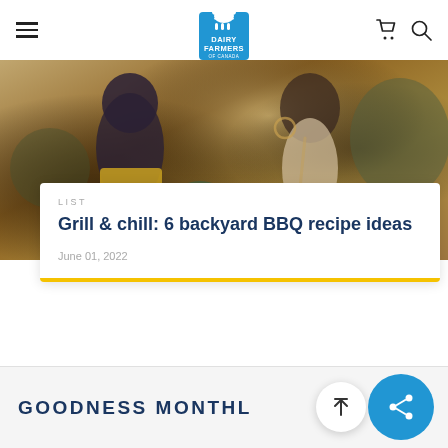Dairy Farmers of Canada — navigation bar with hamburger menu, logo, cart and search icons
[Figure (photo): Two people at an outdoor BBQ gathering — a man cutting food on a board and a woman eating from a bowl, summer setting]
LIST
Grill & chill: 6 backyard BBQ recipe ideas
June 01, 2022
GOODNESS MONTHL
[Figure (other): Scroll-to-top arrow button (circular white button with upward arrow)]
[Figure (other): Share button (circular blue button with share/network icon)]